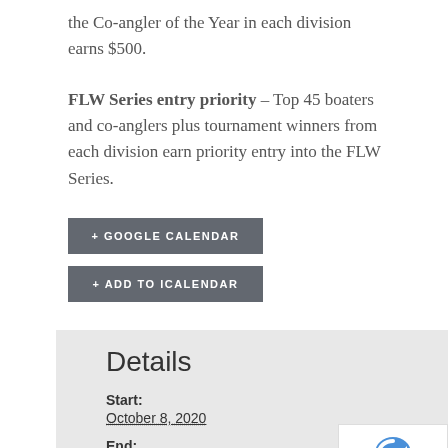the Co-angler of the Year in each division earns $500.
FLW Series entry priority – Top 45 boaters and co-anglers plus tournament winners from each division earn priority entry into the FLW Series.
+ GOOGLE CALENDAR
+ ADD TO ICALENDAR
Details
Start:
October 8, 2020
End:
October 10, 2020